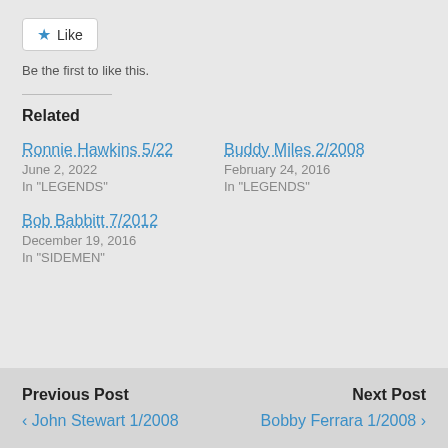Like
Be the first to like this.
Related
Ronnie Hawkins 5/22
June 2, 2022
In "LEGENDS"
Buddy Miles 2/2008
February 24, 2016
In "LEGENDS"
Bob Babbitt 7/2012
December 19, 2016
In "SIDEMEN"
Previous Post
‹ John Stewart 1/2008
Next Post
Bobby Ferrara 1/2008 ›